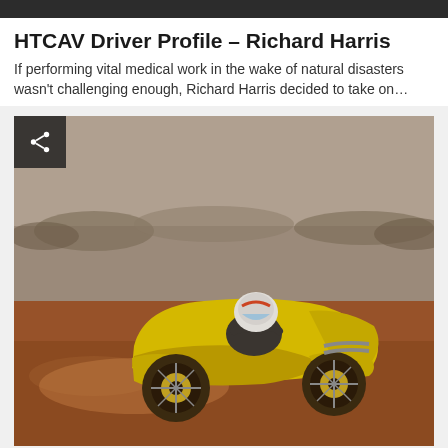HTCAV Driver Profile – Richard Harris
If performing vital medical work in the wake of natural disasters wasn't challenging enough, Richard Harris decided to take on…
[Figure (photo): A person wearing a helmet driving a vintage yellow open-top racing car on a dusty red dirt road, with scrubby outback vegetation visible in the background. A share icon button appears in the top-left corner of the image.]
Advertisment